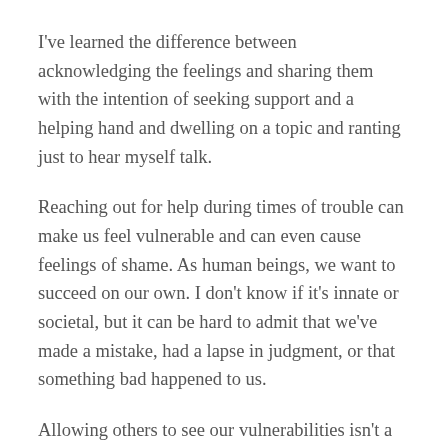I've learned the difference between acknowledging the feelings and sharing them with the intention of seeking support and a helping hand and dwelling on a topic and ranting just to hear myself talk.
Reaching out for help during times of trouble can make us feel vulnerable and can even cause feelings of shame. As human beings, we want to succeed on our own. I don't know if it's innate or societal, but it can be hard to admit that we've made a mistake, had a lapse in judgment, or that something bad happened to us.
Allowing others to see our vulnerabilities isn't a sign of weakness; it's a sign of self-confidence and courage. It takes guts to be honest. We conjure up worst case scenarios as a result of telling the truth. In my experience, the…